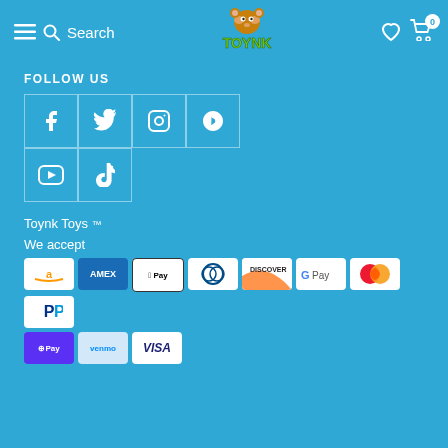TOYNK - Search navigation header
FOLLOW US
[Figure (infographic): Social media icons grid: Facebook, Twitter, Instagram, Pinterest, YouTube, TikTok]
Toynk Toys
We accept
[Figure (infographic): Payment method icons: Amazon Pay, AMEX, Apple Pay, Diners Club, Discover, Google Pay, Mastercard, PayPal, Pay (Shop Pay), Venmo, Visa]